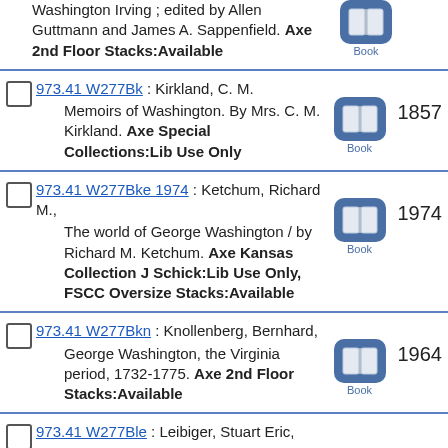Washington Irving ; edited by Allen Guttmann and James A. Sappenfield. Axe 2nd Floor Stacks:Available
973.41 W277Bk : Kirkland, C. M. Memoirs of Washington. By Mrs. C. M. Kirkland. Axe Special Collections:Lib Use Only 1857
973.41 W277Bke 1974 : Ketchum, Richard M., The world of George Washington / by Richard M. Ketchum. Axe Kansas Collection J Schick:Lib Use Only, FSCC Oversize Stacks:Available 1974
973.41 W277Bkn : Knollenberg, Bernhard, George Washington, the Virginia period, 1732-1775. Axe 2nd Floor Stacks:Available 1964
973.41 W277Ble : Leibiger, Stuart Eric,